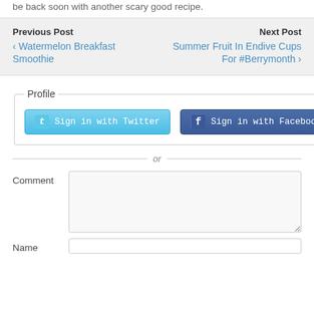be back soon with another scary good recipe.
Previous Post
‹ Watermelon Breakfast Smoothie
Next Post
Summer Fruit In Endive Cups For #Berrymonth ›
Profile
Sign in with Twitter
Sign in with Facebook
or
Comment
Name